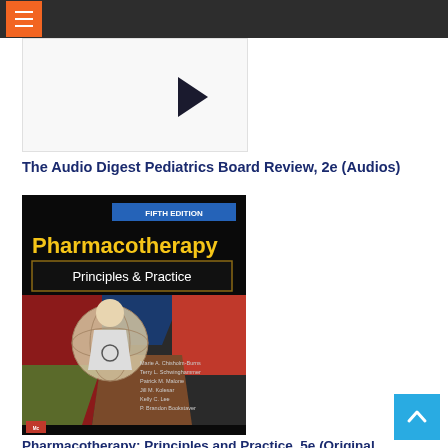Navigation bar with menu button
[Figure (photo): Partial book cover image with dark navy background and a blue arrow/chevron pointing right, mostly white space visible]
The Audio Digest Pediatrics Board Review, 2e (Audios)
[Figure (photo): Book cover: Pharmacotherapy Principles & Practice, Fifth Edition by Marie A. Chisholm-Burns, Terry L. Schwinghammer, Patrick M. Malone, Jill M. Kolesar, Kelly C. Lee, P. Brandon Bookstaver. Published by McGraw-Hill. Cover shows abstract art illustration of a figure with geometric shapes in blues, reds, and earth tones, with a globe/sphere element.]
Pharmacotherapy: Principles and Practice, 5e (Original